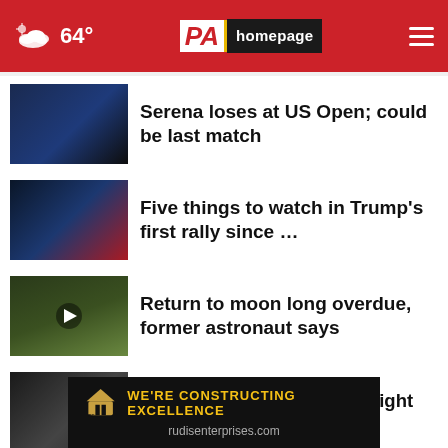64° PA homepage
Serena loses at US Open; could be last match
Five things to watch in Trump's first rally since …
Return to moon long overdue, former astronaut says
The Texas Chainsaw Copyright Infringement? Business …
Man offers reward for information on dog's death
[Figure (infographic): Advertisement banner: WE'RE CONSTRUCTING EXCELLENCE rudisenterprises.com with Rudis Enterprises logo]